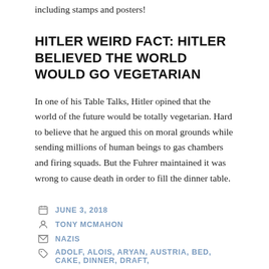He even earned copyright fees on his own image including stamps and posters!
HITLER WEIRD FACT: HITLER BELIEVED THE WORLD WOULD GO VEGETARIAN
In one of his Table Talks, Hitler opined that the world of the future would be totally vegetarian. Hard to believe that he argued this on moral grounds while sending millions of human beings to gas chambers and firing squads. But the Fuhrer maintained it was wrong to cause death in order to fill the dinner table.
JUNE 3, 2018
TONY MCMAHON
NAZIS
ADOLF, ALOIS, ARYAN, AUSTRIA, BED, CAKE, DINNER, DRAFT,